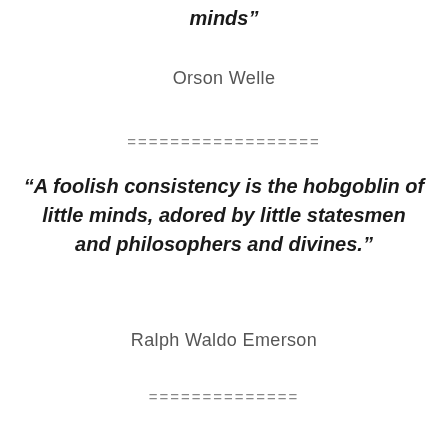minds”
Orson Welle
==================
“A foolish consistency is the hobgoblin of little minds, adored by little statesmen and philosophers and divines.”
Ralph Waldo Emerson
==============